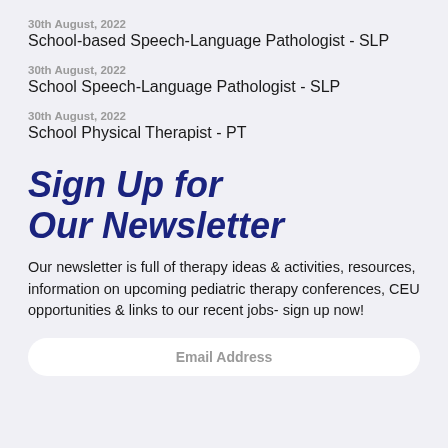30th August, 2022
School-based Speech-Language Pathologist - SLP
30th August, 2022
School Speech-Language Pathologist - SLP
30th August, 2022
School Physical Therapist - PT
Sign Up for Our Newsletter
Our newsletter is full of therapy ideas & activities, resources, information on upcoming pediatric therapy conferences, CEU opportunities & links to our recent jobs- sign up now!
Email Address